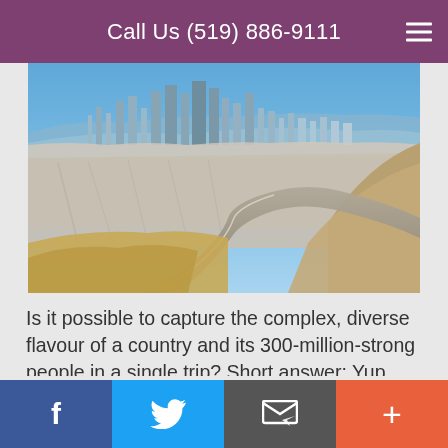Call Us (519) 886-9111
[Figure (photo): Aerial panoramic view of San Francisco cityscape looking towards downtown and the bay, taken from a hilltop with a winding road in the foreground]
Is it possible to capture the complex, diverse flavour of a country and its 300-million-strong people in a single trip? Short answer: Yup. This epic sojourn across America from sea to shining sea (and back again) is, quite possibly, the most ambitious road trip